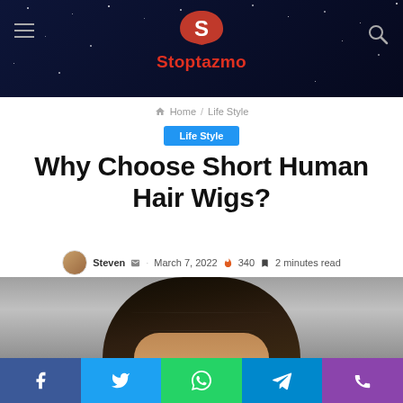Stoptazmo
Home / Life Style
Life Style
Why Choose Short Human Hair Wigs?
Steven · March 7, 2022 🔥 340 🔖 2 minutes read
[Figure (photo): Top of a person's head showing short dark hair against a gray background]
Social share bar: Facebook, Twitter, WhatsApp, Telegram, Phone